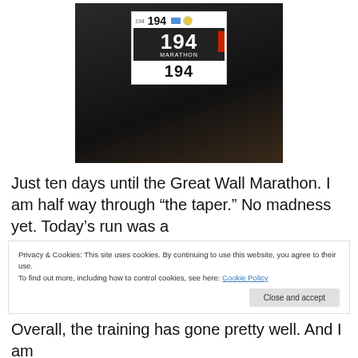[Figure (photo): A marathon race bib numbered 194 pinned to a black shirt. The bib shows the number 194 three times — small at top, large in black section labeled MARATHON, and again in bottom white section.]
Just ten days until the Great Wall Marathon. I am half way through “the taper.” No madness yet. Today’s run was a
Privacy & Cookies: This site uses cookies. By continuing to use this website, you agree to their use.
To find out more, including how to control cookies, see here: Cookie Policy
Close and accept
Overall, the training has gone pretty well. And I am